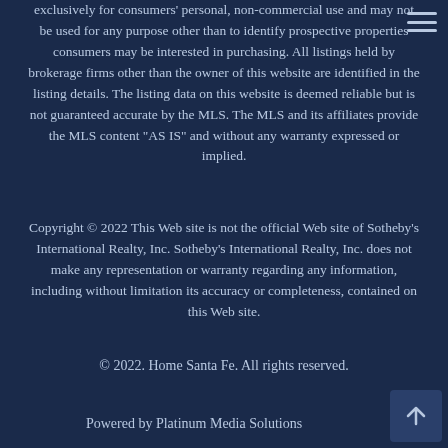exclusively for consumers' personal, non-commercial use and may not be used for any purpose other than to identify prospective properties consumers may be interested in purchasing. All listings held by brokerage firms other than the owner of this website are identified in the listing details. The listing data on this website is deemed reliable but is not guaranteed accurate by the MLS. The MLS and its affiliates provide the MLS content "AS IS" and without any warranty expressed or implied.
Copyright © 2022 This Web site is not the official Web site of Sotheby's International Realty, Inc. Sotheby's International Realty, Inc. does not make any representation or warranty regarding any information, including without limitation its accuracy or completeness, contained on this Web site.
© 2022. Home Santa Fe. All rights reserved.
Powered by Platinum Media Solutions